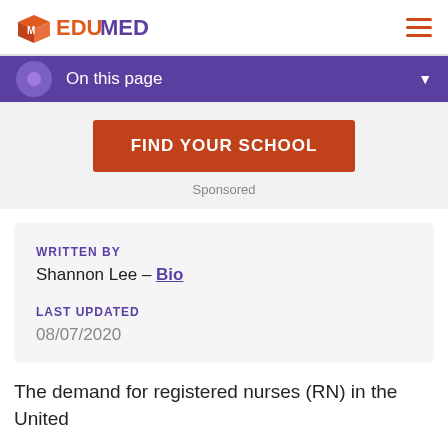EDUMED
On this page
[Figure (other): Orange 'FIND YOUR SCHOOL' call-to-action button]
Sponsored
WRITTEN BY
Shannon Lee – Bio
LAST UPDATED
08/07/2020
The demand for registered nurses (RN) in the United